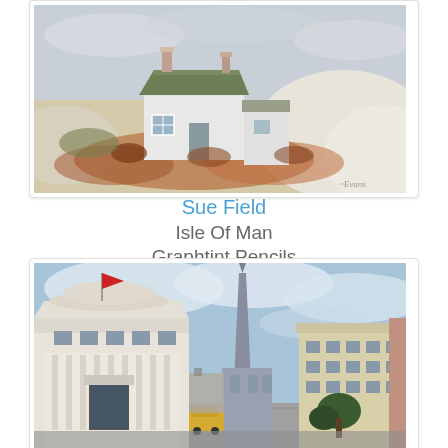[Figure (illustration): Watercolour/graphtint pencil artwork showing a white cottage with green moss-covered roof nestled in sand dunes with orange-red foliage, grey sky in background, artist signature bottom right]
Sue Field
Isle Of Man
Graphtint Pencils
[Figure (illustration): Watercolour artwork showing an urban street scene with ornate white classical building with red flag on left, tall church spire in centre, multi-storey buildings on right, yellow vehicle in street, cloudy blue sky]